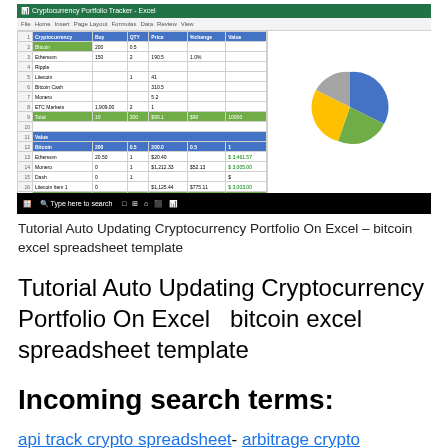[Figure (screenshot): Screenshot of a cryptocurrency portfolio tracking spreadsheet in Microsoft Excel with a pie chart showing portfolio allocation.]
Tutorial Auto Updating Cryptocurrency Portfolio On Excel – bitcoin excel spreadsheet template
Tutorial Auto Updating Cryptocurrency Portfolio On Excel   bitcoin excel spreadsheet template
Incoming search terms:
api track crypto spreadsheet- arbitrage crypto spreadsheet- arbitrage spreadsheet crypto- best spreadsheet for trackng crypto currency portfolio- best spreadsheet with api